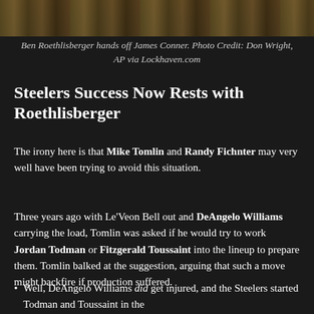[Figure (photo): Photo of Ben Roethlisberger handing off to James Conner in football game, players in yellow/gold Steelers uniforms]
Ben Roethlisberger hands off James Conner. Photo Credit: Don Wright, AP via Lockhaven.com
Steelers Success Now Rests with Roethlisberger
The irony here is that Mike Tomlin and Randy Fichnter may very well have been trying to avoid this situation.
Three years ago with Le'Veon Bell out and DeAngelo Williams carrying the load, Tomlin was asked if he would try to work Jordan Todman or Fitzgerald Toussaint into the lineup to prepare them. Tomlin balked at the suggestion, arguing that such a move might backfire if production suffered.
Well, DeAngelo Williams did get injured, and the Steelers started Todman and Toussaint in the